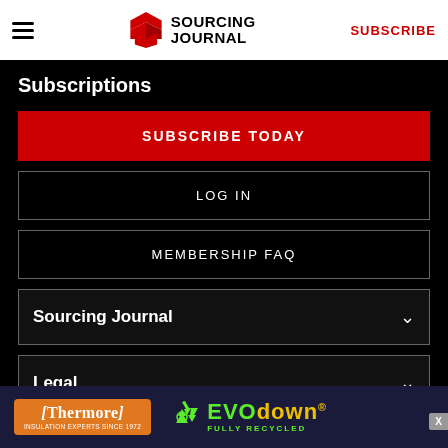Sourcing Journal — SUBSCRIBE
Subscriptions
SUBSCRIBE TODAY
LOG IN
MEMBERSHIP FAQ
Sourcing Journal
Legal
[Figure (other): Thermore EVO down advertisement banner — insulation experts since 1972, fully recycled]